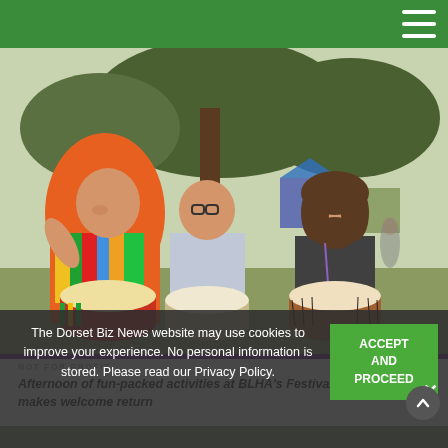[Figure (photo): Three men sitting outdoors under trees playing djembe drums at a festival. The man on the left wears a colorful poncho, the middle man wears a light blue shirt, and the man on the right has long hair and a beard wearing a dark t-shirt.]
NOT FOR PROFIT
Afternoon of fun-packed activities at BLHA's Festival of Wellbeing makes welcome return
The Dorset Biz News website may use cookies to improve your experience. No personal information is stored. Please read our Privacy Policy.
ACCEPT AND PROCEED